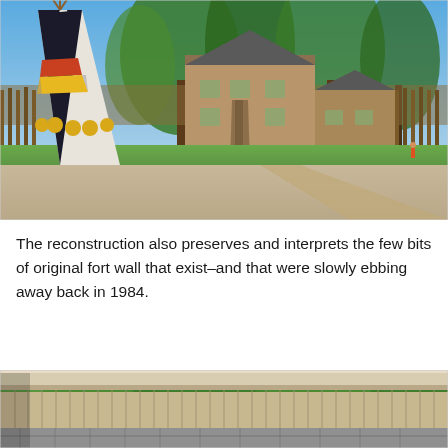[Figure (photo): Outdoor scene at a reconstructed fort showing a decorated Native American tipi with black, white, red, and yellow designs on the left, a two-story wooden building in the center background, large trees, green lawn, sandy ground, and a wooden fence surrounding the grounds.]
The reconstruction also preserves and interprets the few bits of original fort wall that exist–and that were slowly ebbing away back in 1984.
[Figure (photo): Partial view of a reconstructed fort wall with a log palisade fence and stone foundation, surrounded by green trees, seen from inside the fort under a covering overhang.]